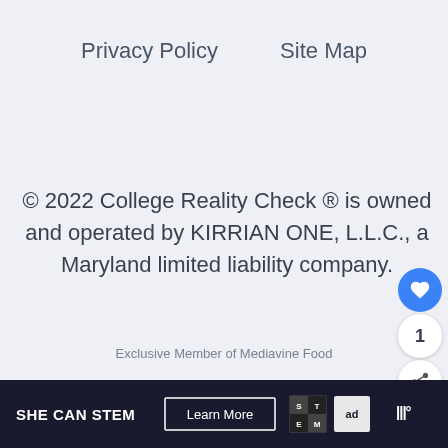Privacy Policy    Site Map
© 2022 College Reality Check ® is owned and operated by KIRRIAN ONE, L.L.C., a Maryland limited liability company.
Exclusive Member of Mediavine Food
[Figure (screenshot): SHE CAN STEM advertisement banner with Learn More button, STEM logo, Ad Council logo, and iHeartMedia logo on dark background]